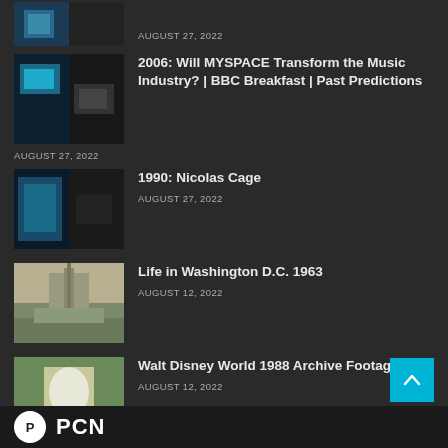[Figure (screenshot): Partial thumbnail of a video at top of page (cropped)]
AUGUST 27, 2022
[Figure (screenshot): Thumbnail for 2006: Will MYSPACE Transform the Music Industry? | BBC Breakfast | Past Predictions]
2006: Will MYSPACE Transform the Music Industry? | BBC Breakfast | Past Predictions
AUGUST 27, 2022
[Figure (screenshot): Thumbnail for 1990: Nicolas Cage]
1990: Nicolas Cage
AUGUST 27, 2022
[Figure (photo): Thumbnail showing Washington D.C. Capitol building, vintage photo]
Life in Washington D.C. 1963
AUGUST 12, 2022
[Figure (photo): Thumbnail showing Walt Disney World parade with costumed character]
Walt Disney World 1988 Archive Footage
AUGUST 12, 2022
[Figure (logo): Website logo with circular emblem and 'PCN' text in footer]